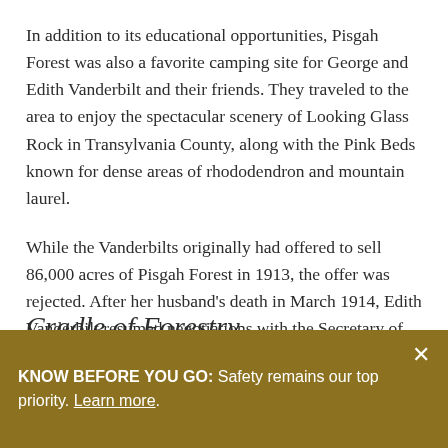In addition to its educational opportunities, Pisgah Forest was also a favorite camping site for George and Edith Vanderbilt and their friends. They traveled to the area to enjoy the spectacular scenery of Looking Glass Rock in Transylvania County, along with the Pink Beds known for dense areas of rhododendron and mountain laurel.
While the Vanderbilts originally had offered to sell 86,000 acres of Pisgah Forest in 1913, the offer was rejected. After her husband's death in March 1914, Edith Vanderbilt resumed negotiations with the Secretary of Agriculture, David Franklin Houston.
Cradle of Forestry
KNOW BEFORE YOU GO: Safety remains our top priority. Learn more.